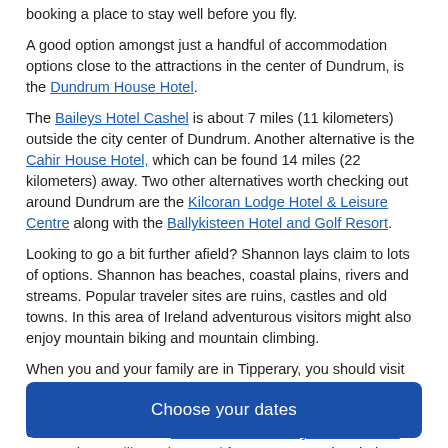booking a place to stay well before you fly.
A good option amongst just a handful of accommodation options close to the attractions in the center of Dundrum, is the Dundrum House Hotel.
The Baileys Hotel Cashel is about 7 miles (11 kilometers) outside the city center of Dundrum. Another alternative is the Cahir House Hotel, which can be found 14 miles (22 kilometers) away. Two other alternatives worth checking out around Dundrum are the Kilcoran Lodge Hotel & Leisure Centre along with the Ballykisteen Hotel and Golf Resort.
Looking to go a bit further afield? Shannon lays claim to lots of options. Shannon has beaches, coastal plains, rivers and streams. Popular traveler sites are ruins, castles and old towns. In this area of Ireland adventurous visitors might also enjoy mountain biking and mountain climbing.
When you and your family are in Tipperary, you should visit the Nenagh Castle and stay a night in Nenagh, which is situated 20 miles (36 kilometers) to the north of the urban core of Dundrum. The Great National Abbey Court Hotel & Spa and Maryville Bed & Breakfast are among the choices.
Choose your dates